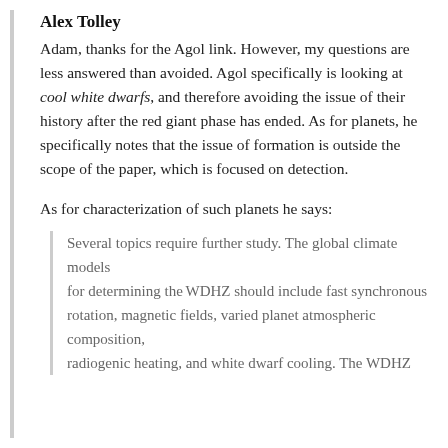Alex Tolley
Adam, thanks for the Agol link. However, my questions are less answered than avoided. Agol specifically is looking at cool white dwarfs, and therefore avoiding the issue of their history after the red giant phase has ended. As for planets, he specifically notes that the issue of formation is outside the scope of the paper, which is focused on detection.
As for characterization of such planets he says:
Several topics require further study. The global climate models for determining theWDHZ should include fast synchronous rotation, magnetic fields, varied planet atmospheric composition, radiogenic heating, and white dwarf cooling. The WDHZ